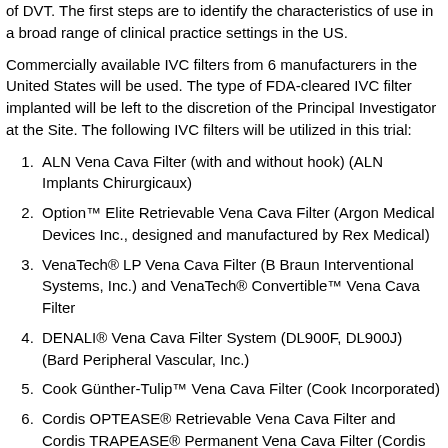of DVT. The first steps are to identify the characteristics of use in a broad range of clinical practice settings in the US.
Commercially available IVC filters from 6 manufacturers in the United States will be used. The type of FDA-cleared IVC filter implanted will be left to the discretion of the Principal Investigator at the Site. The following IVC filters will be utilized in this trial:
ALN Vena Cava Filter (with and without hook) (ALN Implants Chirurgicaux)
Option™ Elite Retrievable Vena Cava Filter (Argon Medical Devices Inc., designed and manufactured by Rex Medical)
VenaTech® LP Vena Cava Filter (B Braun Interventional Systems, Inc.) and VenaTech® Convertible™ Vena Cava Filter
DENALI® Vena Cava Filter System (DL900F, DL900J) (Bard Peripheral Vascular, Inc.)
Cook Günther-Tulip™ Vena Cava Filter (Cook Incorporated)
Cordis OPTEASE® Retrievable Vena Cava Filter and Cordis TRAPEASE® Permanent Vena Cava Filter (Cordis